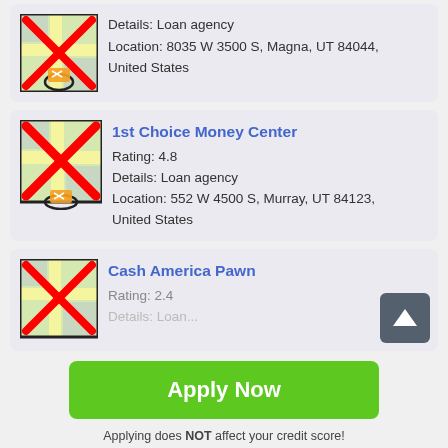[Figure (screenshot): Map thumbnail with red X overlay and location pin icon for first listing (partial, top)]
Details: Loan agency
Location: 8035 W 3500 S, Magna, UT 84044, United States
[Figure (screenshot): Map thumbnail with red X overlay and location pin icon for 1st Choice Money Center]
1st Choice Money Center
Rating: 4.8
Details: Loan agency
Location: 552 W 4500 S, Murray, UT 84123, United States
[Figure (screenshot): Map thumbnail with red X overlay and location pin icon for Cash America Pawn]
Cash America Pawn
Rating: 2.4
Details: Loan...
Apply Now
Applying does NOT affect your credit score!
No credit check to apply.